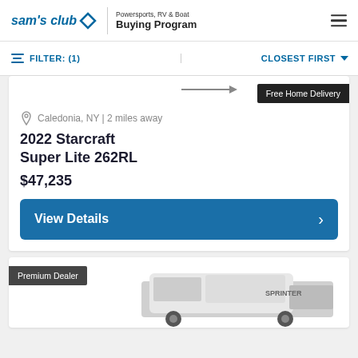sam's club — Powersports, RV & Boat Buying Program
FILTER: (1)   CLOSEST FIRST
Free Home Delivery
Caledonia, NY | 2 miles away
2022 Starcraft Super Lite 262RL
$47,235
View Details
Premium Dealer